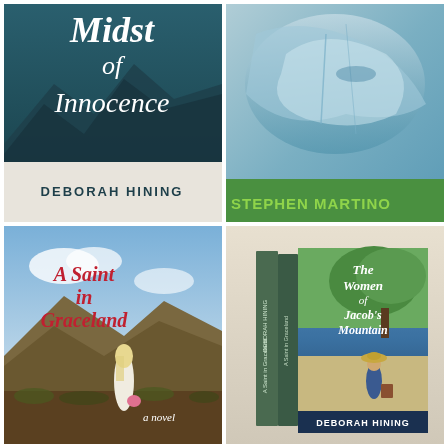[Figure (illustration): Book cover: 'Midst of Innocence' by Deborah Hining. Dark teal/blue background with mountain silhouette and forest trees. Cursive white title text. Author name in white serif caps at bottom.]
[Figure (illustration): Book cover by Stephen Martino. Icy blue/grey background with glacier or ice cave imagery. Author name 'STEPHEN MARTINO' in bold green text at bottom.]
[Figure (illustration): Book cover: 'A Saint in Graceland' — a novel. Scenic landscape with mountains and blue sky. A woman in a white dress with long blonde hair walks away, holding a pink bag. Title in red cursive script. Subtitle 'a novel' in small italic text.]
[Figure (illustration): Book box set: 'The Women of Jacob's Mountain' by Deborah Hining. Two stacked books shown in 3D perspective. Front cover shows a woman in a hat and blue dress with luggage under a tree. Author name 'DEBORAH HINING' at bottom. Spine visible with 'A Saint in Graceland' title.]